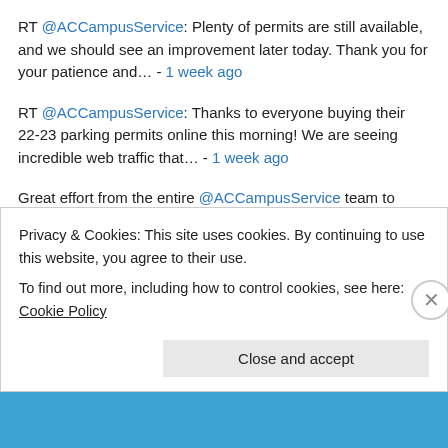RT @ACCampusService: Plenty of permits are still available, and we should see an improvement later today. Thank you for your patience and… - 1 week ago
RT @ACCampusService: Thanks to everyone buying their 22-23 parking permits online this morning! We are seeing incredible web traffic that… - 1 week ago
Great effort from the entire @ACCampusService team to adjust on the fly this morning. We are open for business!… twitter.com/i/web/status/1… - 1 month ago
RT @AlgonquinCoop: 🔵Work Integrated Learning opportunity: Launch
Privacy & Cookies: This site uses cookies. By continuing to use this website, you agree to their use. To find out more, including how to control cookies, see here: Cookie Policy
Close and accept